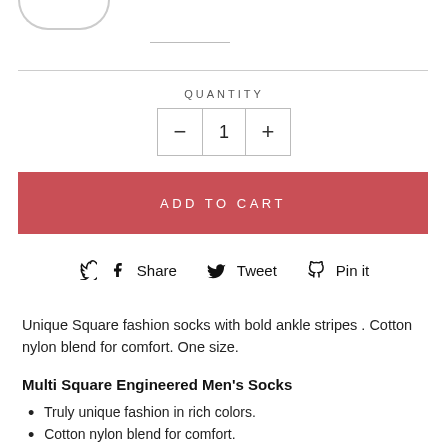[Figure (illustration): Partial circle/oval shape at top left, partially cropped]
QUANTITY
[Figure (other): Quantity selector box with minus button, value 1, and plus button]
ADD TO CART
Share  Tweet  Pin it
Unique Square fashion socks with bold ankle stripes . Cotton nylon blend for comfort. One size.
Multi Square Engineered Men's Socks
Truly unique fashion in rich colors.
Cotton nylon blend for comfort.